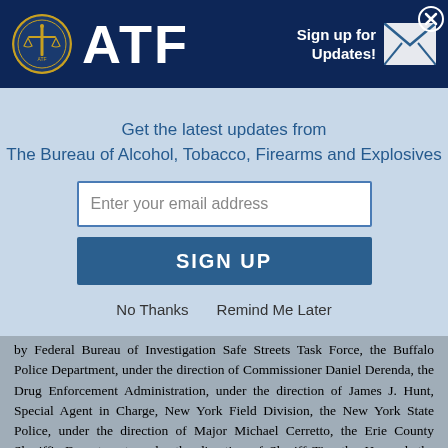ATF — Bureau of Alcohol, Tobacco, Firearms and Explosives
Get the latest updates from The Bureau of Alcohol, Tobacco, Firearms and Explosives
Enter your email address
SIGN UP
No Thanks   Remind Me Later
by Federal Bureau of Investigation Safe Streets Task Force, the Buffalo Police Department, under the direction of Commissioner Daniel Derenda, the Drug Enforcement Administration, under the direction of James J. Hunt, Special Agent in Charge, New York Field Division, the New York State Police, under the direction of Major Michael Cerretto, the Erie County Sheriff's Department, under the direction of Sheriff Timothy Howard, the Edinboro, Pennsylvania Police Department, under the direction of Chief Jeff Craft, and the Edinboro University Police Department, under the direction of Chief Angela Vincent. The FBI Safe Streets Task Force includes